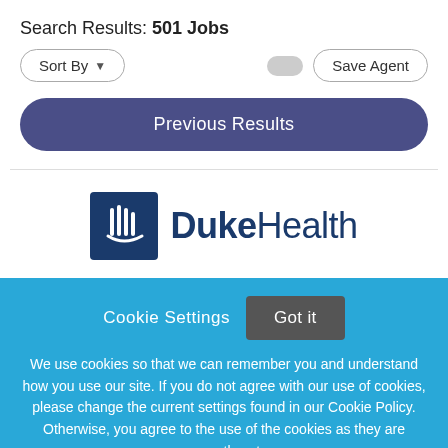Search Results: 501 Jobs
Sort By
Save Agent
Previous Results
[Figure (logo): Duke Health logo with blue shield icon on left and 'DukeHealth' text in dark navy blue on right]
Cookie Settings  Got it
We use cookies so that we can remember you and understand how you use our site. If you do not agree with our use of cookies, please change the current settings found in our Cookie Policy. Otherwise, you agree to the use of the cookies as they are currently set.